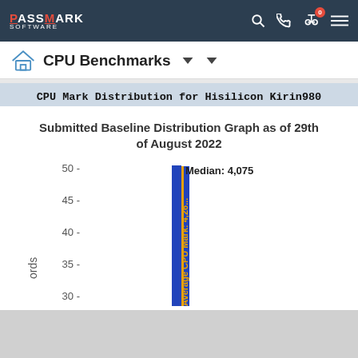PassMark Software
CPU Benchmarks
CPU Mark Distribution for Hisilicon Kirin980
[Figure (continuous-plot): A vertical bar/distribution chart showing CPU Mark distribution. A tall blue bar appears near the center. An orange vertical line labeled 'Average CPU Mark: 4,26...' overlaps the bar. A blue square legend marker and label 'Median: 4,075' appear at the top right of the bar. Y-axis shows values from 30 to 50. Left side shows partial label 'ords'.]